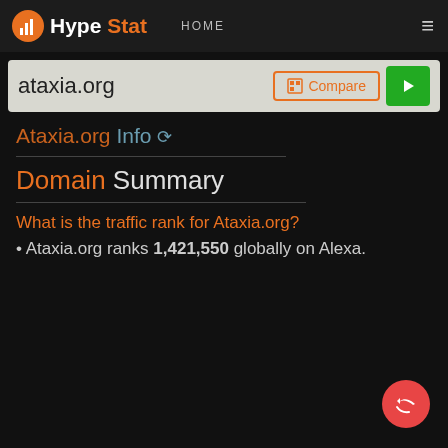HypeStat HOME
ataxia.org
Ataxia.org Info
Domain Summary
What is the traffic rank for Ataxia.org?
Ataxia.org ranks 1,421,550 globally on Alexa.